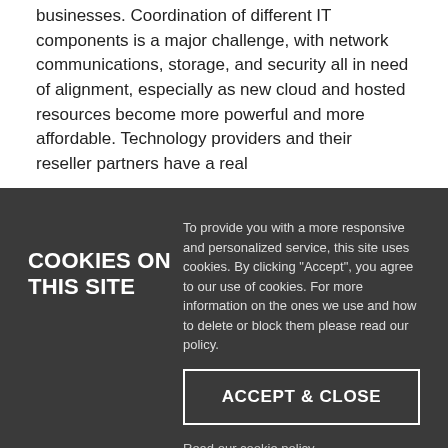businesses. Coordination of different IT components is a major challenge, with network communications, storage, and security all in need of alignment, especially as new cloud and hosted resources become more powerful and more affordable. Technology providers and their reseller partners have a real
SEE MORE
COOKIES ON THIS SITE
To provide you with a more responsive and personalized service, this site uses cookies. By clicking "Accept", you agree to our use of cookies. For more information on the ones we use and how to delete or block them please read our policy.
ACCEPT & CLOSE
Read our cookie policy